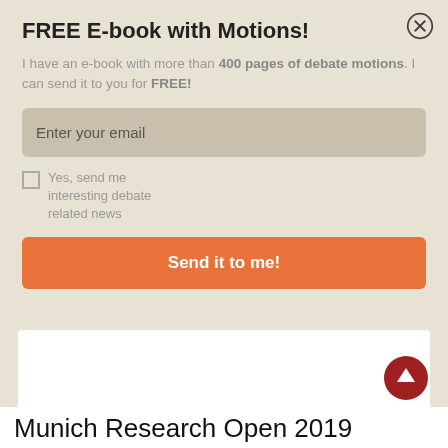FREE E-book with Motions!
I have an e-book with more than 400 pages of debate motions. I can send it to you for FREE!
Enter your email
Yes, send me interesting debate related news
Send it to me!
Munich Research Open 2019